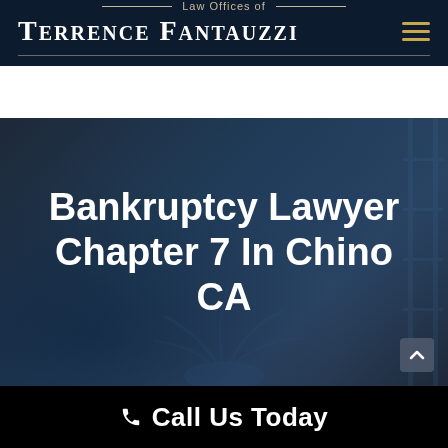Law Offices of Terrence Fantauzzi
Bankruptcy Lawyer Chapter 7 In Chino CA
[Figure (screenshot): Dark blue hero background with blurred office interior image]
Call Us Today